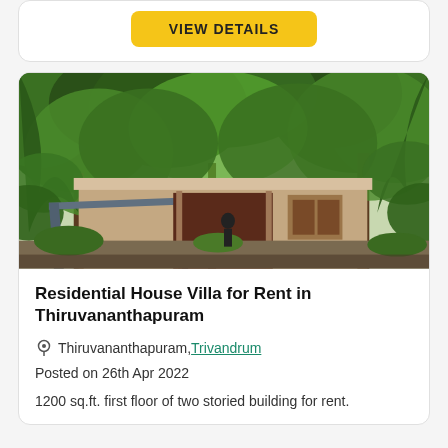[Figure (other): Yellow 'VIEW DETAILS' button on a white card]
[Figure (photo): Photo of a residential house villa surrounded by large trees with lush green foliage, showing a low building with a covered porch/carport, reddish-brown facade]
Residential House Villa for Rent in Thiruvananthapuram
Thiruvananthapuram, Trivandrum
Posted on 26th Apr 2022
1200 sq.ft. first floor of two storied building for rent.